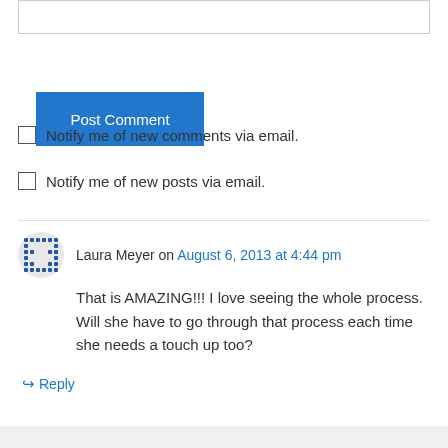[Figure (other): Text input field (comment form input bar)]
Post Comment
Notify me of new comments via email.
Notify me of new posts via email.
Laura Meyer on August 6, 2013 at 4:44 pm
That is AMAZING!!! I love seeing the whole process. Will she have to go through that process each time she needs a touch up too?
↳ Reply